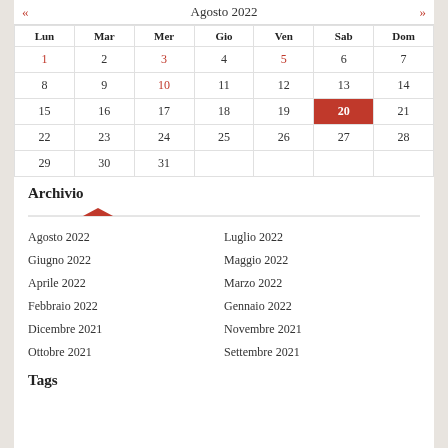| Lun | Mar | Mer | Gio | Ven | Sab | Dom |
| --- | --- | --- | --- | --- | --- | --- |
| 1 | 2 | 3 | 4 | 5 | 6 | 7 |
| 8 | 9 | 10 | 11 | 12 | 13 | 14 |
| 15 | 16 | 17 | 18 | 19 | 20 | 21 |
| 22 | 23 | 24 | 25 | 26 | 27 | 28 |
| 29 | 30 | 31 |  |  |  |  |
Archivio
Agosto 2022
Luglio 2022
Giugno 2022
Maggio 2022
Aprile 2022
Marzo 2022
Febbraio 2022
Gennaio 2022
Dicembre 2021
Novembre 2021
Ottobre 2021
Settembre 2021
Tags